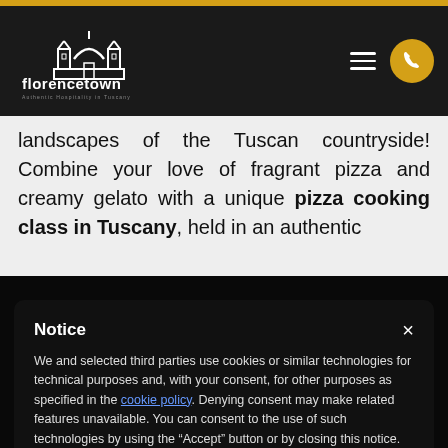[Figure (logo): Florencetown logo - white building/dome icon with 'florencetown' text and tagline 'Authentic Hospitality in Tuscany']
landscapes of the Tuscan countryside! Combine your love of fragrant pizza and creamy gelato with a unique pizza cooking class in Tuscany, held in an authentic
Notice
We and selected third parties use cookies or similar technologies for technical purposes and, with your consent, for other purposes as specified in the cookie policy. Denying consent may make related features unavailable. You can consent to the use of such technologies by using the “Accept” button or by closing this notice.
Accept
Learn more and customize